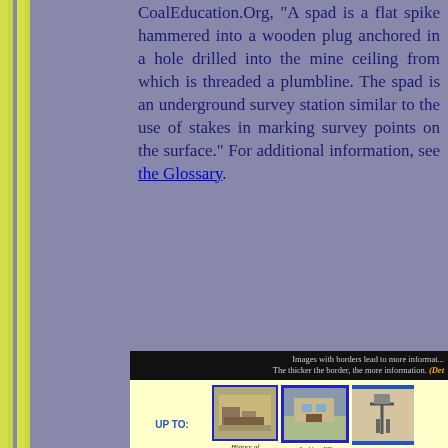CoalEducation.Org, "A spad is a flat spike hammered into a wooden plug anchored in a hole drilled into the mine ceiling from which is threaded a plumbline. The spad is an underground survey station similar to the use of stakes in marking survey points on the surface." For additional information, see the Glossary.
Images with borders lead to more information. The thicker the border, the more information. (Det...
UP TO:
History of Jenkins, Kentucky
Jenkins, KY
Ame... Hist...
[Figure (screenshot): Google search bar with Google logo and text input field]
A page or image on this site is in the public domain ONLY if its URL has a total of c... the item is copyright someone else, and used by permission or fair use. If the URL ha...